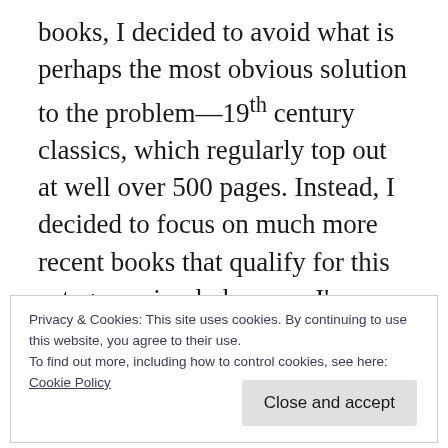books, I decided to avoid what is perhaps the most obvious solution to the problem—19th century classics, which regularly top out at well over 500 pages. Instead, I decided to focus on much more recent books that qualify for this category, simply because I'm assuming many readers will already be familiar with a lot of those classics, even ones they've never personally read.
In conducting my research, I learned that many
Privacy & Cookies: This site uses cookies. By continuing to use this website, you agree to their use.
To find out more, including how to control cookies, see here:
Cookie Policy
Close and accept
with literary elements. In any event, I tried to